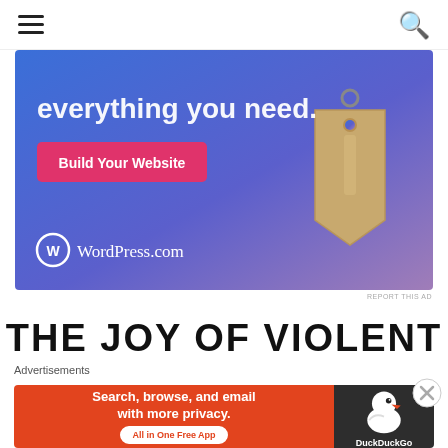≡  🔍
[Figure (screenshot): WordPress.com advertisement banner with blue-purple gradient background, showing a price tag image on the right, text 'everything you need.' in white, a pink 'Build Your Website' button, and WordPress.com logo at bottom left.]
REPORT THIS AD
THE JOY OF VIOLENT
Advertisements
[Figure (screenshot): DuckDuckGo advertisement banner with orange left panel showing 'Search, browse, and email with more privacy. All in One Free App' and dark right panel with DuckDuckGo duck logo.]
REPORT THIS AD